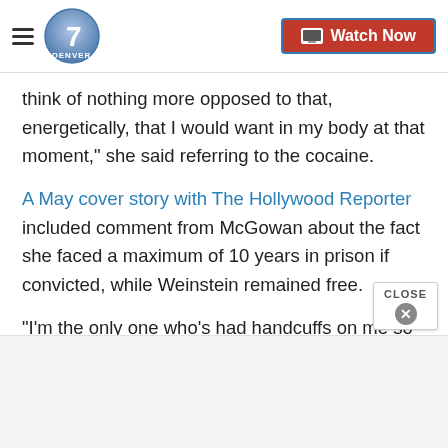Denver 7 - Watch Now
think of nothing more opposed to that, energetically, that I would want in my body at that moment," she said referring to the cocaine.
A May cover story with The Hollywood Reporter included comment from McGowan about the fact she faced a maximum of 10 years in prison if convicted, while Weinstein remained free.
"I'm the only one who's had handcuffs on me so far in this situation," she told the publication. "That's not right."